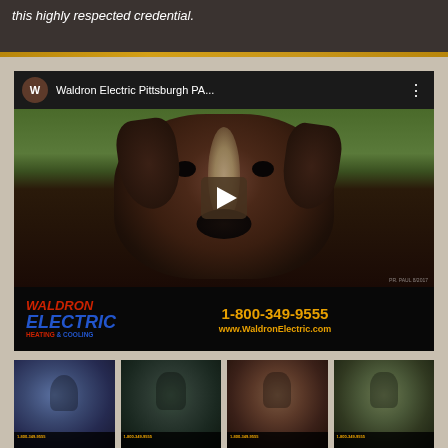this highly respected credential.
[Figure (screenshot): YouTube-style video player showing Waldron Electric Pittsburgh PA video. The video thumbnail shows a close-up of a Boxer dog's face. The video bottom bar shows company name 'WALDRON ELECTRIC HEATING & COOLING' and phone number '1-800-349-9555' and website 'www.WaldronElectric.com'. Below the main video are four smaller video thumbnails showing people with pets.]
Waldron Electric Pittsburgh PA